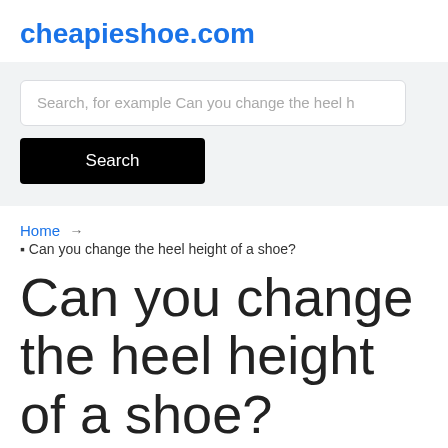cheapieshoe.com
[Figure (screenshot): Search input field with placeholder text 'Search, for example Can you change the heel h' and a black Search button below it, on a light gray background]
Home → ▸ Can you change the heel height of a shoe?
Can you change the heel height of a shoe?